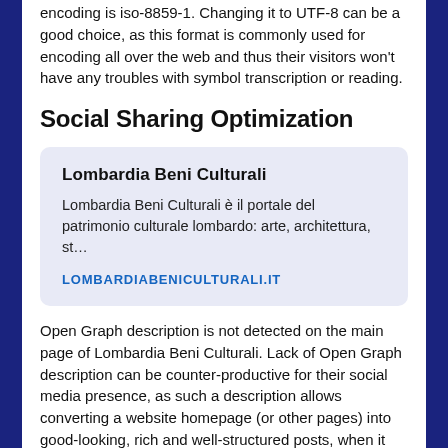encoding is iso-8859-1. Changing it to UTF-8 can be a good choice, as this format is commonly used for encoding all over the web and thus their visitors won't have any troubles with symbol transcription or reading.
Social Sharing Optimization
[Figure (other): Card preview showing Lombardia Beni Culturali website with title, description snippet, and URL link LOMBARDIABENICULTURALI.IT on a light purple/blue background.]
Open Graph description is not detected on the main page of Lombardia Beni Culturali. Lack of Open Graph description can be counter-productive for their social media presence, as such a description allows converting a website homepage (or other pages) into good-looking, rich and well-structured posts, when it